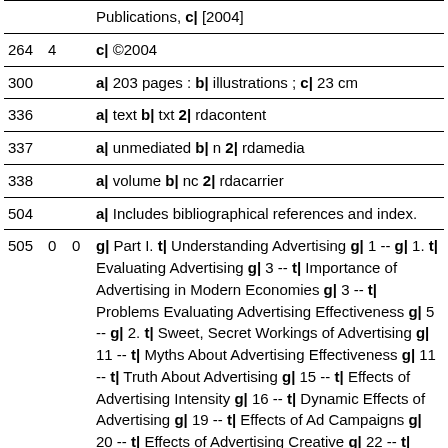| Field | Ind1 | Ind2 | Data |
| --- | --- | --- | --- |
|  |  |  | Publications, c| [2004] |
| 264 | 4 |  | c| ©2004 |
| 300 |  |  | a| 203 pages : b| illustrations ; c| 23 cm |
| 336 |  |  | a| text b| txt 2| rdacontent |
| 337 |  |  | a| unmediated b| n 2| rdamedia |
| 338 |  |  | a| volume b| nc 2| rdacarrier |
| 504 |  |  | a| Includes bibliographical references and index. |
| 505 | 0 | 0 | g| Part I. t| Understanding Advertising g| 1 -- g| 1. t| Evaluating Advertising g| 3 -- t| Importance of Advertising in Modern Economies g| 3 -- t| Problems Evaluating Advertising Effectiveness g| 5 -- g| 2. t| Sweet, Secret Workings of Advertising g| 11 -- t| Myths About Advertising Effectiveness g| 11 -- t| Truth About Advertising g| 15 -- t| Effects of Advertising Intensity g| 16 -- t| Dynamic Effects of Advertising g| 19 -- t| Effects of Ad Campaigns g| 20 -- t| Effects of Advertising Creative g| 22 -- t| Contingent Effects of ... |